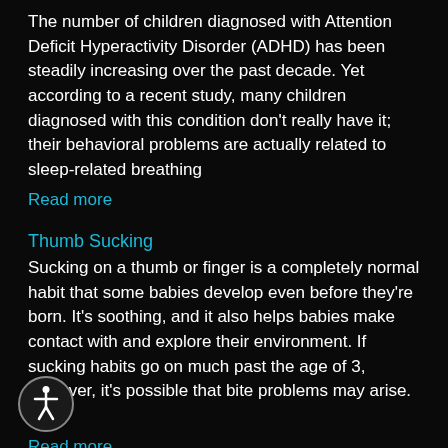The number of children diagnosed with Attention Deficit Hyperactivity Disorder (ADHD) has been steadily increasing over the past decade. Yet according to a recent study, many children diagnosed with this condition don't really have it; their behavioral problems are actually related to sleep-related breathing
Read more
Thumb Sucking
Sucking on a thumb or finger is a completely normal habit that some babies develop even before they're born. It's soothing, and it also helps babies make contact with and explore their environment. If sucking habits go on much past the age of 3, however, it's possible that bite problems may arise. In
Read more
Nitrous Oxide for Children
e children are just too fearful to receive necessary dental care. In that type of situation, conscious sedation with nitrous oxide